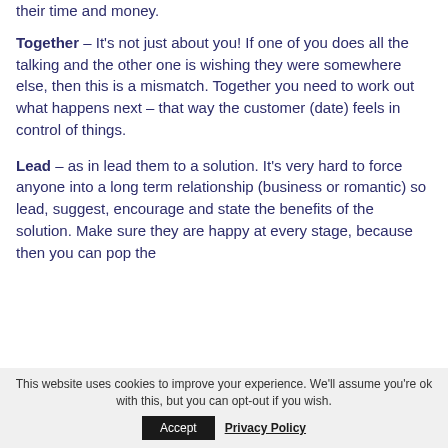their time and money.
Together – It's not just about you! If one of you does all the talking and the other one is wishing they were somewhere else, then this is a mismatch. Together you need to work out what happens next – that way the customer (date) feels in control of things.
Lead – as in lead them to a solution. It's very hard to force anyone into a long term relationship (business or romantic) so lead, suggest, encourage and state the benefits of the solution. Make sure they are happy at every stage, because then you can pop the
This website uses cookies to improve your experience. We'll assume you're ok with this, but you can opt-out if you wish.